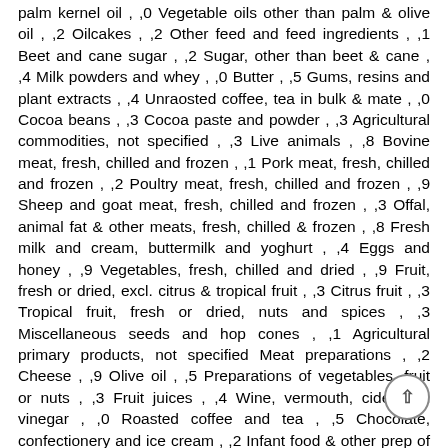palm kernel oil , ,0 Vegetable oils other than palm & olive oil , ,2 Oilcakes , ,2 Other feed and feed ingredients , ,1 Beet and cane sugar , ,2 Sugar, other than beet & cane , ,4 Milk powders and whey , ,0 Butter , ,5 Gums, resins and plant extracts , ,4 Unraosted coffee, tea in bulk & mate , ,0 Cocoa beans , ,3 Cocoa paste and powder , ,3 Agricultural commodities, not specified , ,3 Live animals , ,8 Bovine meat, fresh, chilled and frozen , ,1 Pork meat, fresh, chilled and frozen , ,2 Poultry meat, fresh, chilled and frozen , ,9 Sheep and goat meat, fresh, chilled and frozen , ,3 Offal, animal fat & other meats, fresh, chilled & frozen , ,8 Fresh milk and cream, buttermilk and yoghurt , ,4 Eggs and honey , ,9 Vegetables, fresh, chilled and dried , ,9 Fruit, fresh or dried, excl. citrus & tropical fruit , ,3 Citrus fruit , ,3 Tropical fruit, fresh or dried, nuts and spices , ,3 Miscellaneous seeds and hop cones , ,1 Agricultural primary products, not specified Meat preparations , ,2 Cheese , ,9 Olive oil , ,5 Preparations of vegetables, fruit or nuts , ,3 Fruit juices , ,4 Wine, vermouth, cider and vinegar , ,0 Roasted coffee and tea , ,5 Chocolate, confectionery and ice cream , ,2 Infant food & other prep of cereals, flour, starch or milk , ,9 Pasta, pastry, biscuits and bread , ,3 Soups and sauces , ,9 Coffee and tea extracts , ,4 Food preparations, not